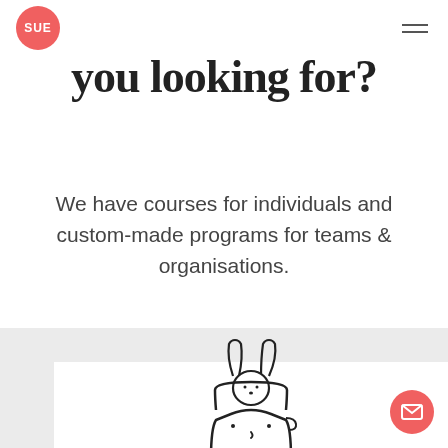SUE
you looking for?
We have courses for individuals and custom-made programs for teams & organisations.
[Figure (illustration): Line drawing of a person's head with an open top and a small rabbit sitting inside the head, representing creative thinking or imagination. The figure has simple facial features - eyes, nose, and a slight smile.]